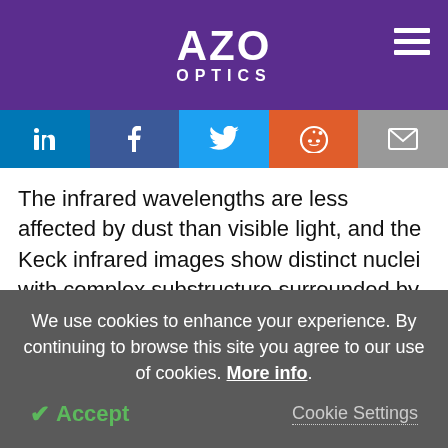AZO OPTICS
[Figure (infographic): Social media sharing buttons: LinkedIn, Facebook, Twitter, Reddit, Email]
The infrared wavelengths are less affected by dust than visible light, and the Keck infrared images show distinct nuclei with complex substructure surrounded by many faint point sources. The faint point sources are young star clusters produced in a burst of star formation triggered by the collision of the two gas-rich galaxies. Pinpointing which of the features in the
We use cookies to enhance your experience. By continuing to browse this site you agree to our use of cookies. More info.
✔ Accept   Cookie Settings